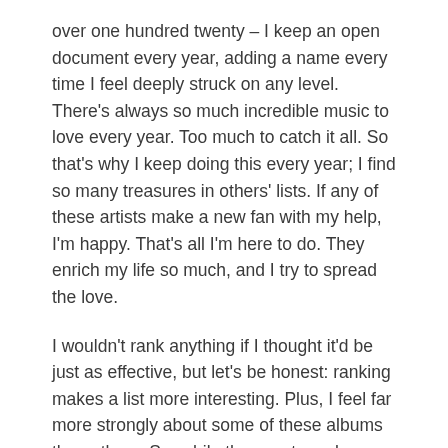over one hundred twenty – I keep an open document every year, adding a name every time I feel deeply struck on any level. There's always so much incredible music to love every year. Too much to catch it all. So that's why I keep doing this every year; I find so many treasures in others' lists. If any of these artists make a new fan with my help, I'm happy. That's all I'm here to do. They enrich my life so much, and I try to spread the love.
I wouldn't rank anything if I thought it'd be just as effective, but let's be honest: ranking makes a list more interesting. Plus, I feel far more strongly about some of these albums than others. So, while the exact numbers may not matter so much, the general direction of the list does. The albums at the top are the ones I've spun more than anything, the ones I most clearly see myself looping years into the future.